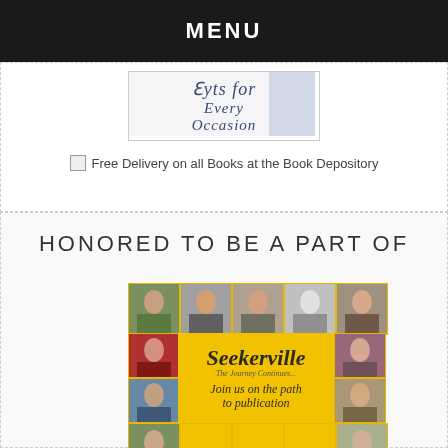MENU
[Figure (illustration): Banner image with script text reading 'Gifs for Every Occasion' with decorative background]
Free Delivery on all Books at the Book Depository
HONORED TO BE A PART OF
[Figure (photo): Seekerville blog collage image showing multiple author photos arranged in a grid on a yellow background with cursive text reading 'Seekerville - The Journey Continues... Join us on the path to publication - seekerville.blogspot.com']